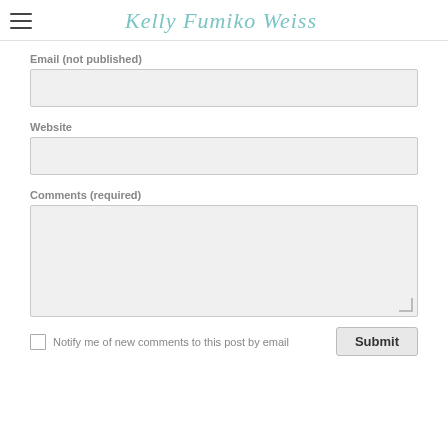Kelly Fumiko Weiss
Email (not published)
Website
Comments (required)
Notify me of new comments to this post by email
Submit